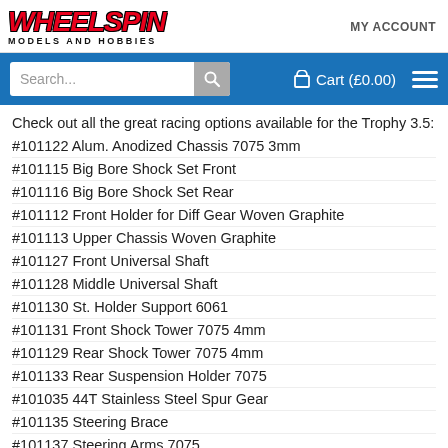WHEELSPIN MODELS AND HOBBIES — MY ACCOUNT
Check out all the great racing options available for the Trophy 3.5:
#101122 Alum. Anodized Chassis 7075 3mm
#101115 Big Bore Shock Set Front
#101116 Big Bore Shock Set Rear
#101112 Front Holder for Diff Gear Woven Graphite
#101113 Upper Chassis Woven Graphite
#101127 Front Universal Shaft
#101128 Middle Universal Shaft
#101130 St. Holder Support 6061
#101131 Front Shock Tower 7075 4mm
#101129 Rear Shock Tower 7075 4mm
#101133 Rear Suspension Holder 7075
#101035 44T Stainless Steel Spur Gear
#101135 Steering Brace
#101137 Steering Arms 7075
#101138 Front/Rear Hardened Diff
#101139 Centre Hardened Diff
#101140 Hard Diff Bevel Gear...